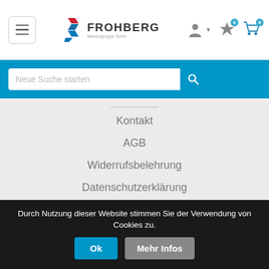[Figure (logo): Frohberg logo with stylized S shape in red and blue, and text FROHBERG Mediengruppe Simm]
Neue Suche starten
Kontakt
AGB
Widerrufsbelehrung
Datenschutzerklärung
Impressum
FAQ
Durch Nutzung dieser Website stimmen Sie der Verwendung von Cookies zu.
Ok
Mehr Infos